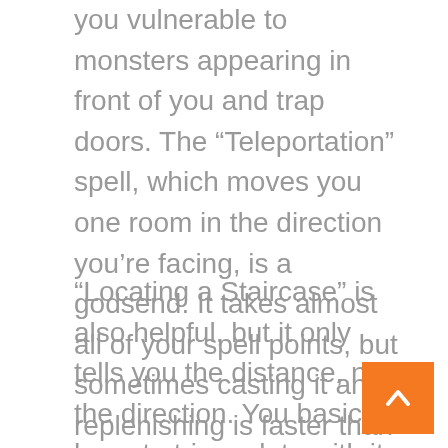you vulnerable to monsters appearing in front of you and trap doors. The “Teleportation” spell, which moves you one room in the direction you’re facing, is a godsend. It takes almost all of your spell points, but sometimes casting it and replenishing is faster than walking through a room, fighting a combat or two on the way, and having to wait for your fatigue to replenish anyway. If you’re unable to teleport a particular direction, you know you’re at the edge of the map.
“Locating a Staircase” is also helpful, but it only tells you the distance, not the direction. You basically have to triangulate with it. “Jump” can get you through a room in two castings and is thus often as useful as “Teleportation.”